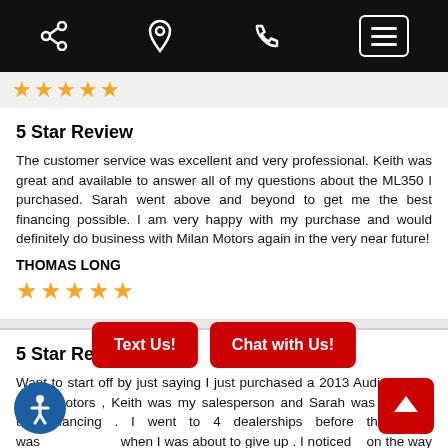[Figure (screenshot): Mobile navigation bar with share, location, phone, and menu icons on black background]
[Figure (other): Five orange stars (partial, cropped at top)]
5 Star Review
The customer service was excellent and very professional. Keith was great and available to answer all of my questions about the ML350 I purchased. Sarah went above and beyond to get me the best financing possible. I am very happy with my purchase and would definitely do business with Milan Motors again in the very near future!
THOMAS LONG
[Figure (other): Five orange stars rating]
5 Star Review
Want to start off by just saying I just purchased a 2013 Audi A5 from Milan motors , Keith was my salesperson and Sarah was handling the financing . I went to 4 dealerships before them and was about to give up . I noticed on the way home a very nice tion of cars and figured hey why not check it out ny worse at this point , they are very welcomin friendly and prices are fair and the condition of the v